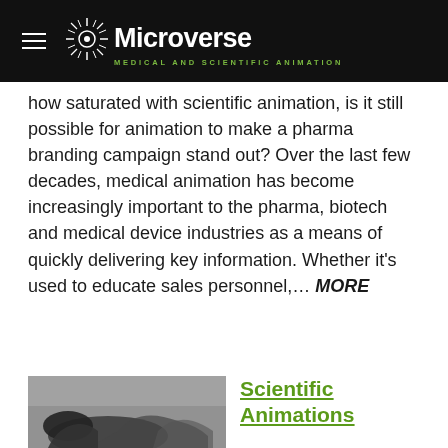Microverse — Medical and Scientific Animation
how saturated with scientific animation, is it still possible for animation to make a pharma branding campaign stand out? Over the last few decades, medical animation has become increasingly important to the pharma, biotech and medical device industries as a means of quickly delivering key information. Whether it's used to educate sales personnel,… MORE
[Figure (photo): Black and white photograph of what appears to be an animal or creature, partially visible at the bottom of the page]
Scientific Animations